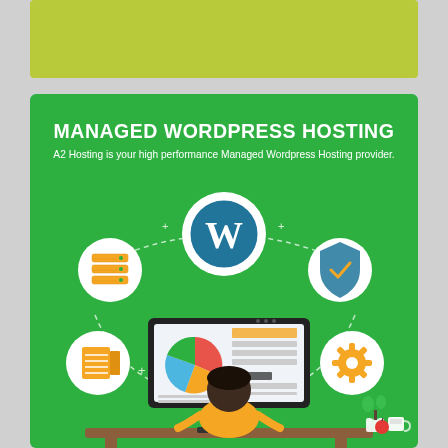[Figure (infographic): Top olive/yellow-green banner strip (partially visible, cropped at top)]
[Figure (infographic): Managed WordPress Hosting infographic on green background. Central WordPress logo circle at top connected by dashed arcs to four icon circles: server stack (top-left), shield with checkmark (top-right), document/box (bottom-left), gear/settings (bottom-right). Center shows a flat-design illustration of a person sitting at a desk with a computer monitor displaying a dashboard with a pie chart and data table. Small plant and coffee cup on desk. Title: MANAGED WORDPRESS HOSTING. Subtitle: A2 Hosting is your high performance Managed Wordpress Hosting provider.]
MANAGED WORDPRESS HOSTING
A2 Hosting is your high performance Managed Wordpress Hosting provider.